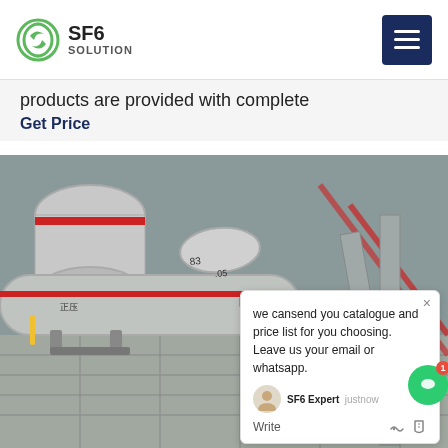SF6 SOLUTION
products are provided with complete
Get Price
[Figure (photo): Industrial SF6 gas equipment showing large cylindrical tanks/pipes with red stripe markings and a flexible hose connector, outdoors on a metal grate platform. Overlay chat popup visible.]
we cansend you catalogue and price list for you choosing. Leave us your email or whatsapp.
SF6 Expert   justnow
Write